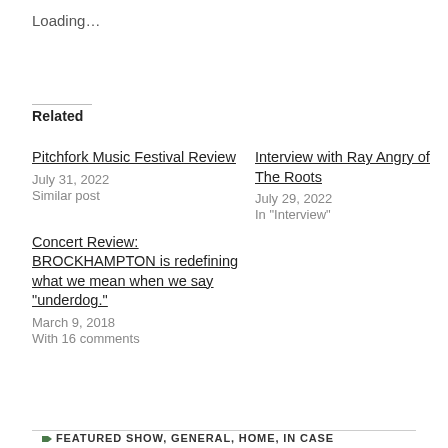Loading…
Related
Pitchfork Music Festival Review
July 31, 2022
Similar post
Interview with Ray Angry of The Roots
July 29, 2022
In "Interview"
Concert Review: BROCKHAMPTON is redefining what we mean when we say "underdog."
March 9, 2018
With 16 comments
FEATURED SHOW, GENERAL, HOME, IN CASE…